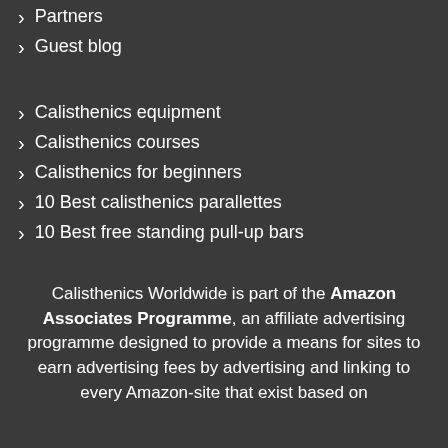Partners
Guest blog
Calisthenics equipment
Calisthenics courses
Calisthenics for beginners
10 Best calisthenics parallettes
10 Best free standing pull-up bars
Calisthenics Worldwide is part of the Amazon Associates Programme, an affiliate advertising programme designed to provide a means for sites to earn advertising fees by advertising and linking to every Amazon-site that exist based on